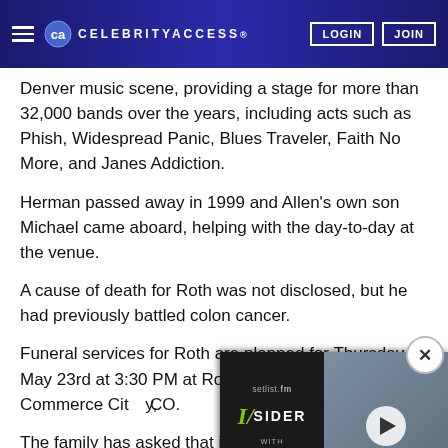CELEBRITYACCESS. LOGIN JOIN
Denver music scene, providing a stage for more than 32,000 bands over the years, including acts such as Phish, Widespread Panic, Blues Traveler, Faith No More, and Janes Addiction.
Herman passed away in 1999 and Allen’s own son Michael came aboard, helping with the day-to-day at the venue.
A cause of death for Roth was not disclosed, but he had previously battled colon cancer.
Funeral services for Roth are planned for Thursday, May 23rd at 3:30 PM at Rose Hill Cemetary in Commerce City, CO.
The family has asked that in lie may be made to www.walkingm
[Figure (screenshot): Video widget overlay showing setlist.fm INSIDER WITH INCUBUS promotion with play button and people in background, with close (X) button]